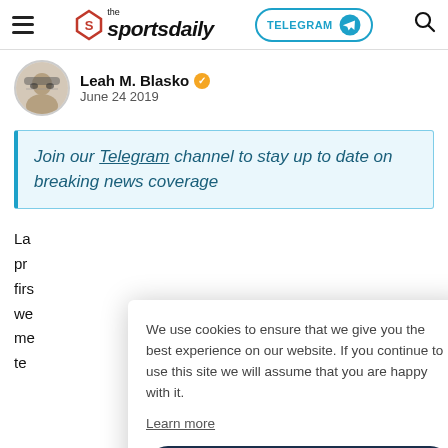the sportsdaily | TELEGRAM | [search]
Leah M. Blasko ✓
June 24 2019
Join our Telegram channel to stay up to date on breaking news coverage
La pr firs we me te
We use cookies to ensure that we give you the best experience on our website. If you continue to use this site we will assume that you are happy with it.
Learn more
Okay